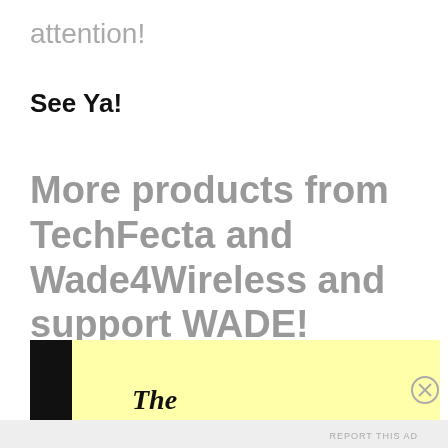attention!
See Ya!
More products from TechFecta and Wade4Wireless and support WADE!
[Figure (other): Advertisement banner with black left block and yellow background, showing partial text 'The' in bold italic serif font. A close/X button appears to the right.]
Advertisements
REPORT THIS AD